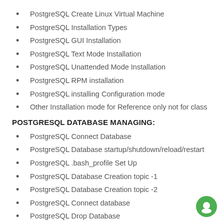PostgreSQL Create Linux Virtual Machine
PostgreSQL Installation Types
PostgreSQL GUI Installation
PostgreSQL Text Mode Installation
PostgreSQL Unattended Mode Installation
PostgreSQL RPM installation
PostgreSQL installing Configuration mode
Other Installation mode for Reference only not for class
POSTGRESQL DATABASE MANAGING:
PostgreSQL Connect Database
PostgreSQL Database startup/shutdown/reload/restart
PostgreSQL .bash_profile Set Up
PostgreSQL Database Creation topic -1
PostgreSQL Database Creation topic -2
PostgreSQL Connect database
PostgreSQL Drop Database